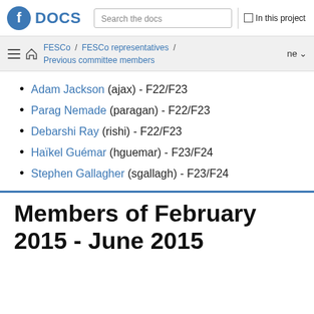Fedora DOCS | Search the docs | In this project
FESCo / FESCo representatives / Previous committee members
Adam Jackson (ajax) - F22/F23
Parag Nemade (paragan) - F22/F23
Debarshi Ray (rishi) - F22/F23
Haïkel Guémar (hguemar) - F23/F24
Stephen Gallagher (sgallagh) - F23/F24
Members of February 2015 - June 2015